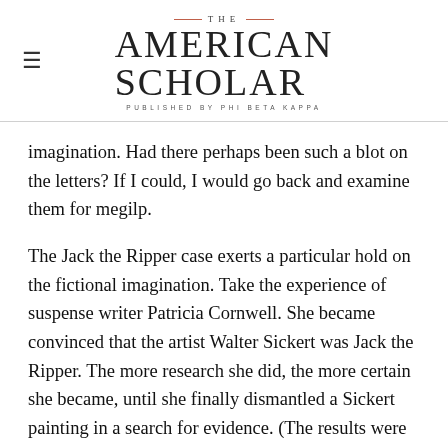THE AMERICAN SCHOLAR — PUBLISHED BY PHI BETA KAPPA
imagination. Had there perhaps been such a blot on the letters? If I could, I would go back and examine them for megilp.
The Jack the Ripper case exerts a particular hold on the fictional imagination. Take the experience of suspense writer Patricia Cornwell. She became convinced that the artist Walter Sickert was Jack the Ripper. The more research she did, the more certain she became, until she finally dismantled a Sickert painting in a search for evidence. (The results were inconclusive, but the